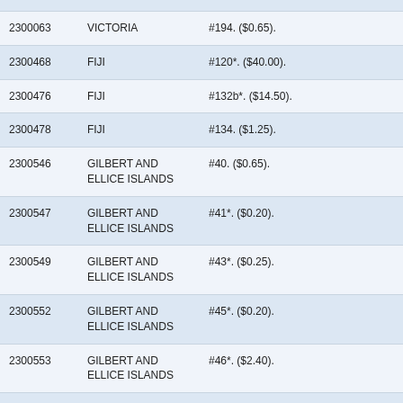|  |  |  |
| 2300063 | VICTORIA | #194. ($0.65). |
| 2300468 | FIJI | #120*. ($40.00). |
| 2300476 | FIJI | #132b*. ($14.50). |
| 2300478 | FIJI | #134. ($1.25). |
| 2300546 | GILBERT AND ELLICE ISLANDS | #40. ($0.65). |
| 2300547 | GILBERT AND ELLICE ISLANDS | #41*. ($0.20). |
| 2300549 | GILBERT AND ELLICE ISLANDS | #43*. ($0.25). |
| 2300552 | GILBERT AND ELLICE ISLANDS | #45*. ($0.20). |
| 2300553 | GILBERT AND ELLICE ISLANDS | #46*. ($2.40). |